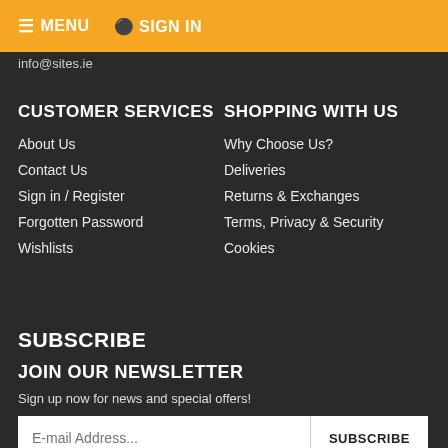☰ MENU  ♟ SIGN IN
info@sites.ie
CUSTOMER SERVICES
About Us
Contact Us
Sign in / Register
Forgotten Password
Wishlists
SHOPPING WITH US
Why Choose Us?
Deliveries
Returns & Exchanges
Terms, Privacy & Security
Cookies
SUBSCRIBE
JOIN OUR NEWSLETTER
Sign up now for news and special offers!
E-mail Address...  SUBSCRIBE